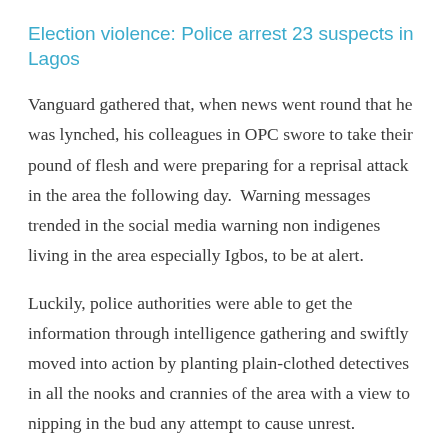Election violence: Police arrest 23 suspects in Lagos
Vanguard gathered that, when news went round that he was lynched, his colleagues in OPC swore to take their pound of flesh and were preparing for a reprisal attack in the area the following day.  Warning messages trended in the social media warning non indigenes living in the area especially Igbos, to be at alert.
Luckily, police authorities were able to get the information through intelligence gathering and swiftly moved into action by planting plain-clothed detectives in all the nooks and crannies of the area with a view to nipping in the bud any attempt to cause unrest.
Vanguard gathered the newly posted Commissioner of